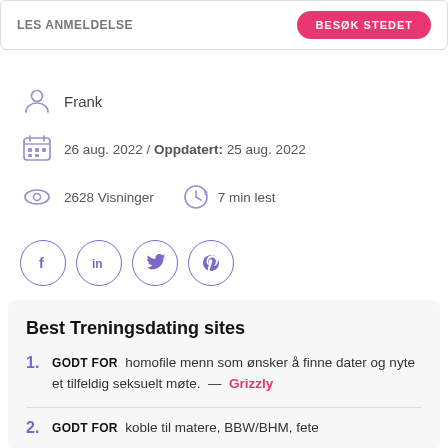LES ANMELDELSE
BESØK STEDET
Frank
26 aug. 2022 / Oppdatert: 25 aug. 2022
2628 Visninger   7 min lest
[Figure (illustration): Social media share icons: Facebook, LinkedIn, Twitter, Pinterest in circular outlines]
Best Treningsdating sites
GODT FOR  homofile menn som ønsker å finne dater og nyte et tilfeldig seksuelt møte.  —  Grizzly
GODT FOR  koble til matere, BBW/BHM, fete